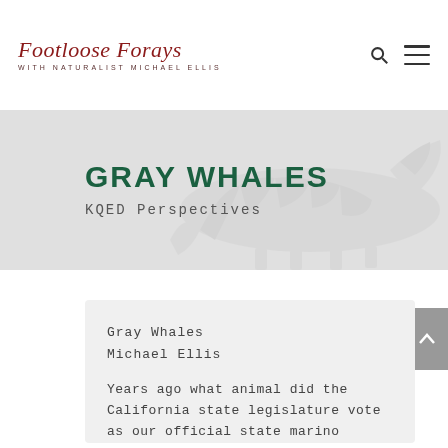Footloose Forays WITH NATURALIST MICHAEL ELLIS
[Figure (illustration): Faded zebra image used as hero banner background, running zebra in light gray tones]
GRAY WHALES
KQED Perspectives
Gray Whales
Michael Ellis
Years ago what animal did the California state legislature vote as our official state marino